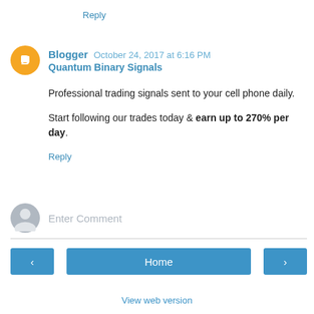Reply
Blogger  October 24, 2017 at 6:16 PM
Quantum Binary Signals
Professional trading signals sent to your cell phone daily.
Start following our trades today & earn up to 270% per day.
Reply
Enter Comment
Home
View web version